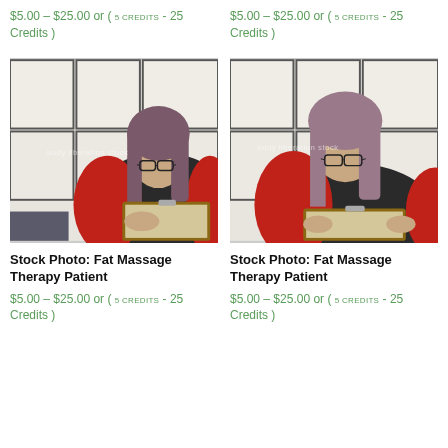$5.00 – $25.00 or ( 5 CREDITS - 25 Credits )
$5.00 – $25.00 or ( 5 CREDITS - 25 Credits )
[Figure (photo): Woman with glasses and long hair wearing a red cardigan over a dark top, sitting and writing on a clipboard, with a shoji screen background. Watermark: body liberation stock]
[Figure (photo): Same woman with glasses and long hair wearing a red cardigan over a dark top, holding a clipboard, with a shoji screen background. Watermark: body liberation stock]
Stock Photo: Fat Massage Therapy Patient
Stock Photo: Fat Massage Therapy Patient
$5.00 – $25.00 or ( 5 CREDITS - 25 Credits )
$5.00 – $25.00 or ( 5 CREDITS - 25 Credits )